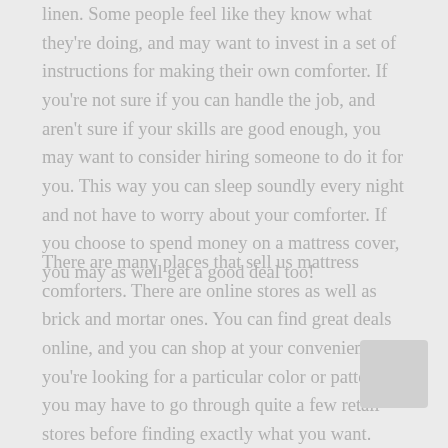linen. Some people feel like they know what they're doing, and may want to invest in a set of instructions for making their own comforter. If you're not sure if you can handle the job, and aren't sure if your skills are good enough, you may want to consider hiring someone to do it for you. This way you can sleep soundly every night and not have to worry about your comforter. If you choose to spend money on a mattress cover, you may as well get a good deal too!
There are many places that sell us mattress comforters. There are online stores as well as brick and mortar ones. You can find great deals online, and you can shop at your convenience. If you're looking for a particular color or pattern, you may have to go through quite a few retail stores before finding exactly what you want. However, shopping online is simple and...
[Figure (photo): Small thumbnail image placeholder in the lower right corner]